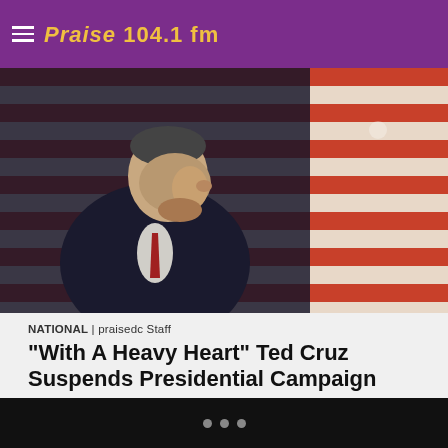Praise 104.1 fm
[Figure (photo): A man in a dark suit with head bowed in front of an American flag background]
NATIONAL | praisedc Staff
“With A Heavy Heart” Ted Cruz Suspends Presidential Campaign
As Republican presidential front-runner Donald Trump is fond of saying, he is "winning by a lot of delegates" ahead of Indiana's pivotal primaries. The same measure could be applied to his Democratic rival Hillary Clinton, who also leads her competitor, Bernie Sanders.